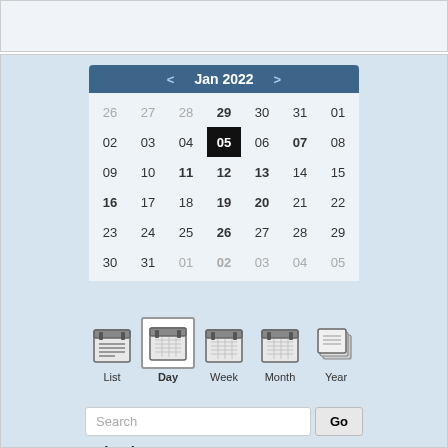[Figure (screenshot): Top gray panel, empty]
[Figure (screenshot): Calendar widget showing January 2022 with day 05 selected (black). Bold days: 07, 11, 12, 13, 16, 19, 20, 26. View buttons: List, Day (active), Week, Month, Year. Search bar with Go button. Calendars section with Church Events (checked, blue), Ministerial Alliance (checked, green), Trustee Board (unchecked), Kingdom Women Worshipping & Wo (unchecked), Deacon Board (unchecked).]